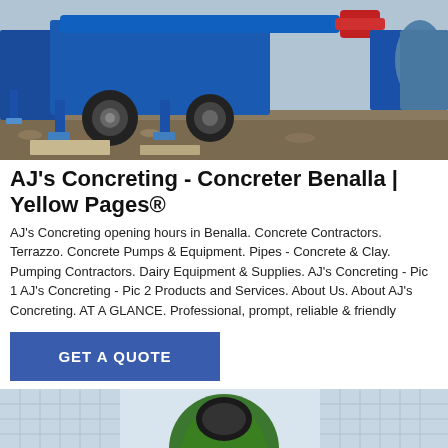[Figure (photo): Construction site with blue concrete pump/mixer machinery on a truck, visible wheels, hydraulic legs, gravel ground]
AJ's Concreting - Concreter Benalla | Yellow Pages®
AJ's Concreting opening hours in Benalla. Concrete Contractors. Terrazzo. Concrete Pumps & Equipment. Pipes - Concrete & Clay. Pumping Contractors. Dairy Equipment & Supplies. AJ's Concreting - Pic 1 AJ's Concreting - Pic 2 Products and Services. About Us. About AJ's Concreting. AT A GLANCE. Professional, prompt, reliable & friendly
GET A QUOTE
[Figure (photo): Concrete mixer equipment (green) with building background and bottom action bar showing Send Message and Inquiry Online buttons]